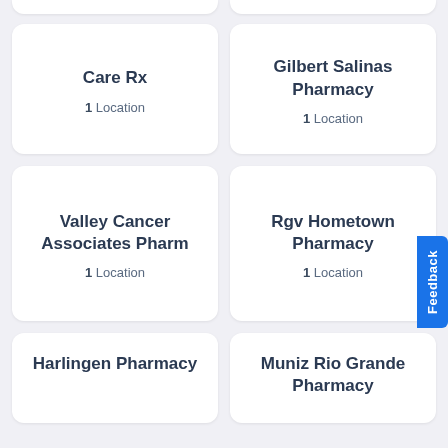Care Rx — 1 Location
Gilbert Salinas Pharmacy — 1 Location
Valley Cancer Associates Pharm — 1 Location
Rgv Hometown Pharmacy — 1 Location
Harlingen Pharmacy
Muniz Rio Grande Pharmacy